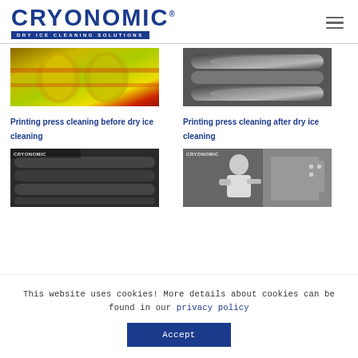[Figure (logo): Cryonomic Dry Ice Cleaning Solutions logo - blue text with tagline bar]
[Figure (photo): Printing press rollers covered in yellow/red ink residue before dry ice cleaning]
[Figure (photo): Printing press rollers after dry ice cleaning - clean grey metal rollers visible]
Printing press cleaning before dry ice cleaning
Printing press cleaning after dry ice cleaning
[Figure (photo): Dirty printing press rollers with black residue - Cryonomic watermark visible]
[Figure (photo): Worker in hoodie cleaning printing press with dry ice blaster - Cryonomic watermark visible]
This website uses cookies! More details about cookies can be found in our privacy policy